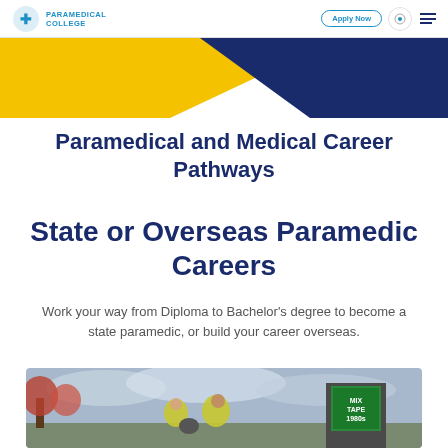PARAMEDICAL COLLEGE | Apply Now
[Figure (illustration): Yellow and dark navy blue triangular banner/hero graphic]
Paramedical and Medical Career Pathways
State or Overseas Paramedic Careers
Work your way from Diploma to Bachelor's degree to become a state paramedic, or build your career overseas.
[Figure (photo): Two paramedics in high-visibility yellow jackets conversing outdoors near motorcycles, with a 'MIX TAPE 1980s' billboard visible in the background]